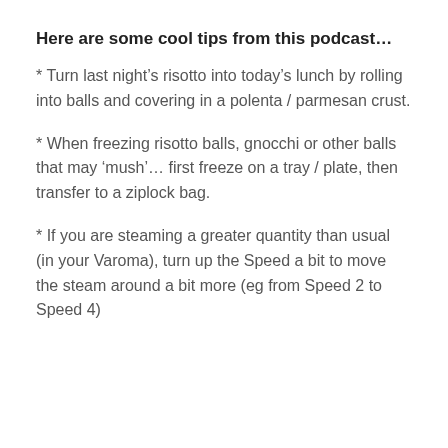Here are some cool tips from this podcast…
* Turn last night’s risotto into today’s lunch by rolling into balls and covering in a polenta / parmesan crust.
* When freezing risotto balls, gnocchi or other balls that may ‘mush’… first freeze on a tray / plate, then transfer to a ziplock bag.
* If you are steaming a greater quantity than usual (in your Varoma), turn up the Speed a bit to move the steam around a bit more (eg from Speed 2 to Speed 4)